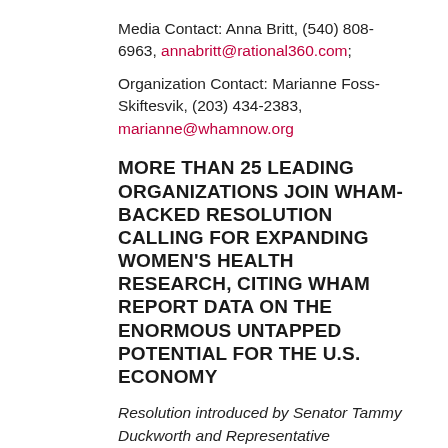Media Contact: Anna Britt, (540) 808-6963, annabritt@rational360.com;
Organization Contact: Marianne Foss-Skiftesvik, (203) 434-2383, marianne@whamnow.org
MORE THAN 25 LEADING ORGANIZATIONS JOIN WHAM-BACKED RESOLUTION CALLING FOR EXPANDING WOMEN'S HEALTH RESEARCH, CITING WHAM REPORT DATA ON THE ENORMOUS UNTAPPED POTENTIAL FOR THE U.S. ECONOMY
Resolution introduced by Senator Tammy Duckworth and Representative